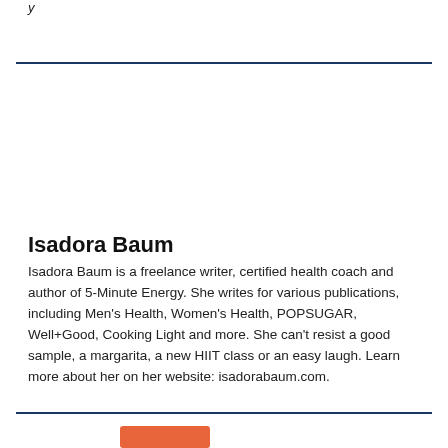y
Isadora Baum
Isadora Baum is a freelance writer, certified health coach and author of 5-Minute Energy. She writes for various publications, including Men's Health, Women's Health, POPSUGAR, Well+Good, Cooking Light and more. She can't resist a good sample, a margarita, a new HIIT class or an easy laugh. Learn more about her on her website: isadorabaum.com.